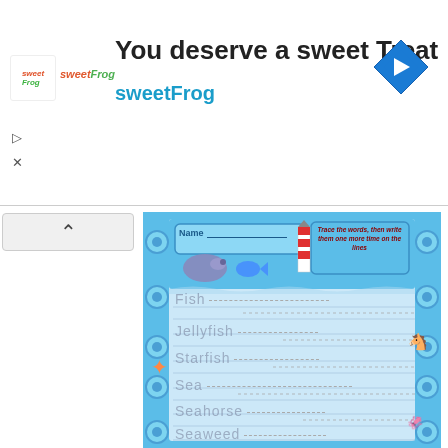[Figure (screenshot): Advertisement banner for sweetFrog frozen yogurt: 'You deserve a sweet Treat' with sweetFrog logo and blue diamond chevron icon]
[Figure (illustration): Children's ocean-themed handwriting worksheet with tracing words: Fish, Jellyfish, Starfish, Sea, Seahorse, Seaweed, Seal. Features Name field, instructions to trace and write words, decorated with sea animals (seal, fish, lighthouse, starfish, seahorse, jellyfish). Blue circular border pattern.]
Name
Trace the words, then write them one more time on the lines
Fish
Jellyfish
Starfish
Sea
Seahorse
Seaweed
Seal